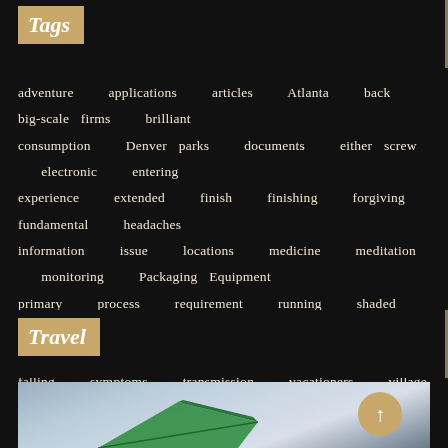Tags
adventure  applications  articles  Atlanta  back  big-scale firms  brilliant  consumption  Denver parks  documents  either screw  electronic  entering  experience  extended  finish  finishing  forgiving  fundamental  headaches  information  issue  locations  medicine  meditation  monitoring  Packaging Equipment  primary  process  requirement  running  shaded  Sierra Cabrera Hillsides  small  software  software stacks  sounds  suspending  swinging  falling  symptoms  transmission  vacationers  village  wrapping  write
Travel
[Figure (photo): Aerial view from airplane window showing clouds and sky, with green airplane wing tip visible at bottom left]